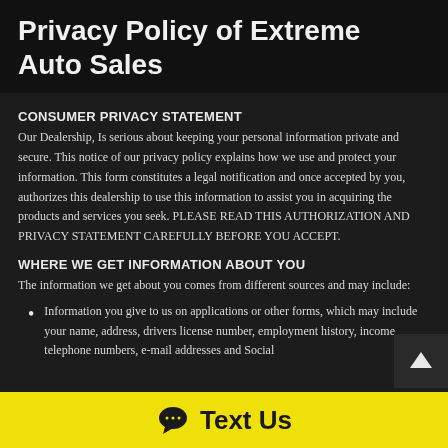Privacy Policy of Extreme Auto Sales
CONSUMER PRIVACY STATEMENT
Our Dealership, Is serious about keeping your personal information private and secure. This notice of our privacy policy explains how we use and protect your information. This form constitutes a legal notification and once accepted by you, authorizes this dealership to use this information to assist you in acquiring the products and services you seek. PLEASE READ THIS AUTHORIZATION AND PRIVACY STATEMENT CAREFULLY BEFORE YOU ACCEPT.
WHERE WE GET INFORMATION ABOUT YOU
The information we get about you comes from different sources and may include:
Information you give to us on applications or other forms, which may include your name, address, drivers license number, employment history, income, telephone numbers, e-mail addresses and Social